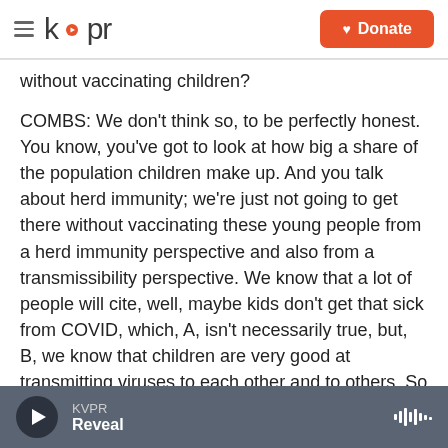[Figure (screenshot): KVPR website header with hamburger menu, kvpr logo, and orange Donate button]
without vaccinating children?
COMBS: We don't think so, to be perfectly honest. You know, you've got to look at how big a share of the population children make up. And you talk about herd immunity; we're just not going to get there without vaccinating these young people from a herd immunity perspective and also from a transmissibility perspective. We know that a lot of people will cite, well, maybe kids don't get that sick from COVID, which, A, isn't necessarily true, but, B, we know that children are very good at transmitting viruses to each other and to others. So they're
KVPR Reveal